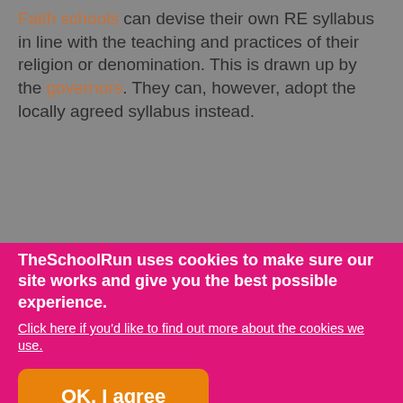Faith schools can devise their own RE syllabus in line with the teaching and practices of their religion or denomination. This is drawn up by the governors. They can, however, adopt the locally agreed syllabus instead.
TheSchoolRun uses cookies to make sure our site works and give you the best possible experience.
Click here if you'd like to find out more about the cookies we use.
OK, I agree